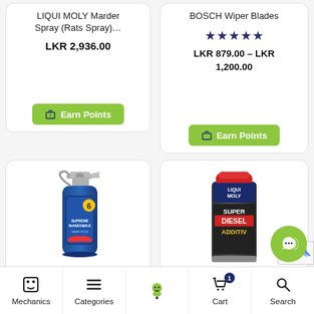LIQUI MOLY Marder Spray (Rats Spray)…
LKR 2,936.00
Earn Points
BOSCH Wiper Blades
★★★★★
LKR 879.00 – LKR 1,200.00
Earn Points
[Figure (photo): Spray bottle product - Supreme NanoWax car care spray]
[Figure (photo): LIQUI MOLY Super Diesel Additiv can in dark canister with red cap]
Eagle Spray Supreme N…
LIQUI MOLY Super…
Mechanics  Categories  [mascot icon]  Cart 1  Search